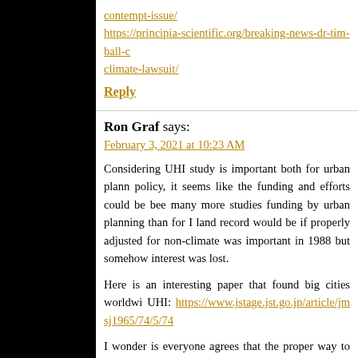contempt-issue/ https://principia-scientific.org/breaking-news-dr-tim-ball-c climate-lawsuit/
Reply
Ron Graf says:
February 3, 2021 at 10:23 AM
Considering UHI study is important both for urban plann policy, it seems like the funding and efforts could be bee many more studies funding by urban planning than for I land record would be if properly adjusted for non-climate was important in 1988 but somehow interest was lost.
Here is an interesting paper that found big cities worldwi UHI: https://www.jstage.jst.go.jp/article/jmsj1965/74/5/74
I wonder is everyone agrees that the proper way to study r by finding pristine stations but by finding and comparing